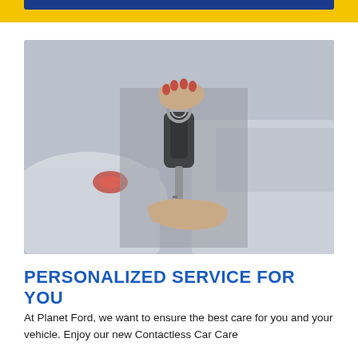[Figure (photo): A person's hand with red nails handing car keys to another person's hand, with white cars in the blurred background. An overlay badge reads 'Instant Vehicle Appraisal' with a green arrow button.]
PERSONALIZED SERVICE FOR YOU
At Planet Ford, we want to ensure the best care for you and your vehicle. Enjoy our new Contactless Car Care